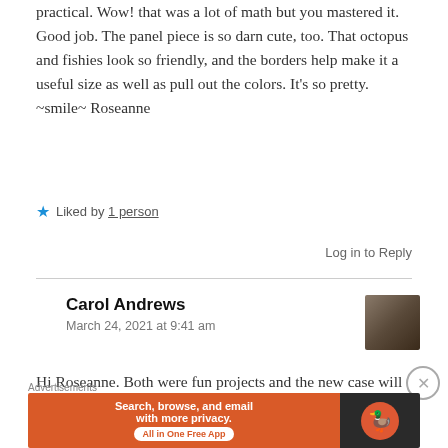practical. Wow! that was a lot of math but you mastered it. Good job. The panel piece is so darn cute, too. That octopus and fishies look so friendly, and the borders help make it a useful size as well as pull out the colors. It’s so pretty. ~smile~ Roseanne
★ Liked by 1 person
Log in to Reply
Carol Andrews
March 24, 2021 at 9:41 am
[Figure (photo): Avatar photo of Carol Andrews, grayscale portrait of a person]
Hi Roseanne. Both were fun projects and the new case will keep my rulers organized and safe while travelling to and from the
Advertisements
[Figure (other): DuckDuckGo advertisement banner: orange background with text 'Search, browse, and email with more privacy. All in One Free App' and DuckDuckGo logo on dark background]